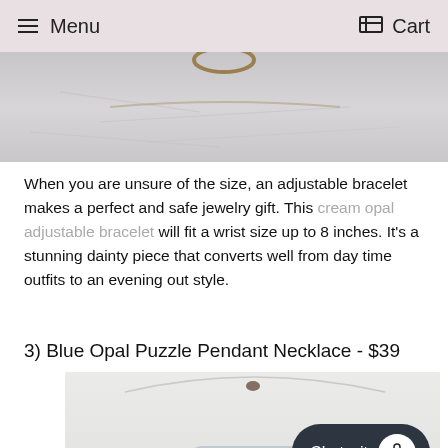Menu   Cart
[Figure (photo): Close-up of an adjustable bracelet on white/silver fabric background, partially visible at the top of the page]
When you are unsure of the size, an adjustable bracelet makes a perfect and safe jewelry gift. This cream opal adjustable bracelet will fit a wrist size up to 8 inches. It’s a stunning dainty piece that converts well from day time outfits to an evening out style.
3) Blue Opal Puzzle Pendant Necklace - $39
[Figure (photo): Close-up of a blue opal puzzle pendant necklace on a white background, with a small dark speck visible above; the necklace sparkles with light]
Chat wit